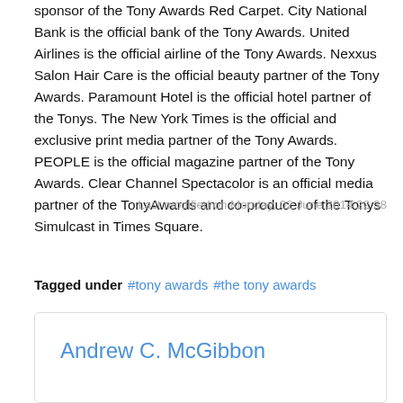sponsor of the Tony Awards Red Carpet. City National Bank is the official bank of the Tony Awards. United Airlines is the official airline of the Tony Awards. Nexxus Salon Hair Care is the official beauty partner of the Tony Awards. Paramount Hotel is the official hotel partner of the Tonys. The New York Times is the official and exclusive print media partner of the Tony Awards. PEOPLE is the official magazine partner of the Tony Awards. Clear Channel Spectacolor is an official media partner of the TonyAwards and co-producer of the Tonys Simulcast in Times Square.
Last modified on Monday, 02 June 2014 22:38
Tagged under  #tony awards  #the tony awards
Andrew C. McGibbon